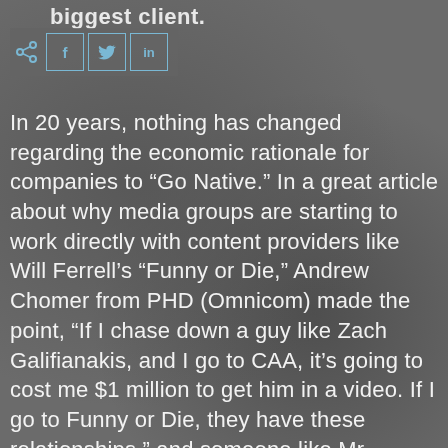biggest client.
[Figure (other): Social share bar with share icon and buttons for Facebook (f), Twitter (bird), and LinkedIn (in)]
In 20 years, nothing has changed regarding the economic rationale for companies to “Go Native.” In a great article about why media groups are starting to work directly with content providers like Will Ferrell’s “Funny or Die,” Andrew Chomer from PHD (Omnicom) made the point, “If I chase down a guy like Zach Galifianakis, and I go to CAA, it’s going to cost me $1 million to get him in a video. If I go to Funny or Die, they have these relationships,” and someone like Mr. Galifianakis could be lined up “for somewhere in the ballpark, of, like $75,000 to $100,000.”